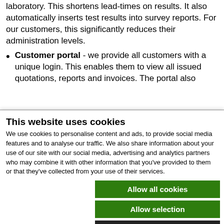laboratory. This shortens lead-times on results. It also automatically inserts test results into survey reports. For our customers, this significantly reduces their administration levels.
Customer portal - we provide all customers with a unique login. This enables them to view all issued quotations, reports and invoices. The portal also
This website uses cookies
We use cookies to personalise content and ads, to provide social media features and to analyse our traffic. We also share information about your use of our site with our social media, advertising and analytics partners who may combine it with other information that you've provided to them or that they've collected from your use of their services.
Allow all cookies
Allow selection
Use necessary cookies only
Necessary  Preferences  Statistics  Marketing  Show details